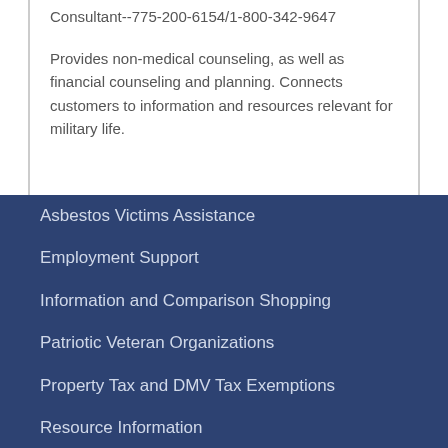Consultant--775-200-6154/1-800-342-9647
Provides non-medical counseling, as well as financial counseling and planning. Connects customers to information and resources relevant for military life.
Asbestos Victims Assistance
Employment Support
Information and Comparison Shopping
Patriotic Veteran Organizations
Property Tax and DMV Tax Exemptions
Resource Information
State of Nevada Veteran Services